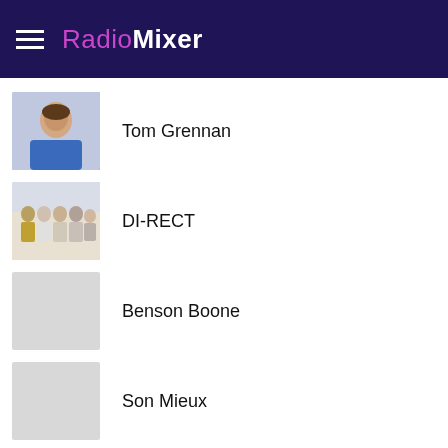RadioMixer
Tom Grennan
DI-RECT
Benson Boone
Son Mieux
Rolf Sanchez
TOP LIEDER
George Ezra - Anyone For You
[partial, cut off]